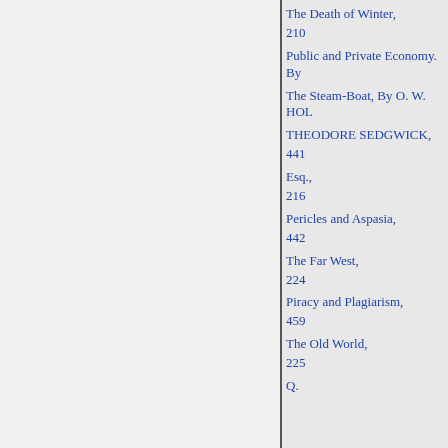The Death of Winter,
210
Public and Private Economy. By
The Steam-Boat, By O. W. HOL
THEODORE SEDGWICK,
441
Esq.,
216
Pericles and Aspasia,
442
The Far West,
224
Piracy and Plagiarism,
459
The Old World,
225
Q.